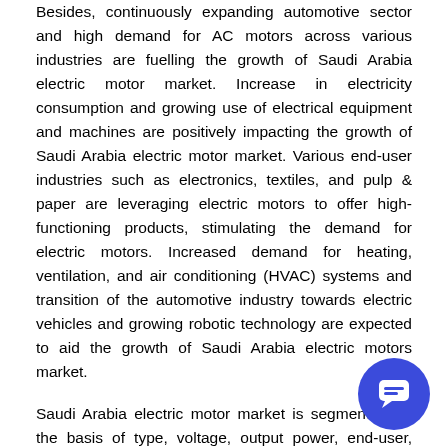Besides, continuously expanding automotive sector and high demand for AC motors across various industries are fuelling the growth of Saudi Arabia electric motor market. Increase in electricity consumption and growing use of electrical equipment and machines are positively impacting the growth of Saudi Arabia electric motor market. Various end-user industries such as electronics, textiles, and pulp & paper are leveraging electric motors to offer high-functioning products, stimulating the demand for electric motors. Increased demand for heating, ventilation, and air conditioning (HVAC) systems and transition of the automotive industry towards electric vehicles and growing robotic technology are expected to aid the growth of Saudi Arabia electric motors market.
Saudi Arabia electric motor market is segmented on the basis of type, voltage, output power, end-user, region, company, and region. Based on the type, AC category is projected to witness a healthy growth in the Saudi Arabia electric motor market throughout the